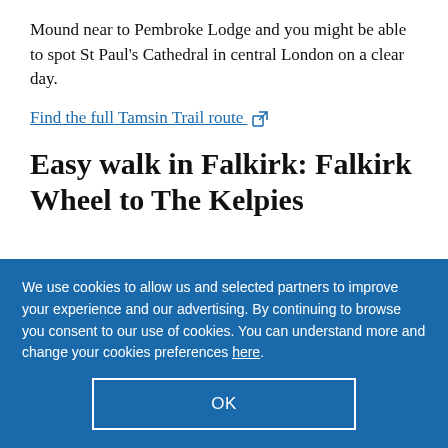Mound near to Pembroke Lodge and you might be able to spot St Paul's Cathedral in central London on a clear day.
Find the full Tamsin Trail route
Easy walk in Falkirk: Falkirk Wheel to The Kelpies
Travel advice you can trust
We use cookies to allow us and selected partners to improve your experience and our advertising. By continuing to browse you consent to our use of cookies. You can understand more and change your cookies preferences here.
OK